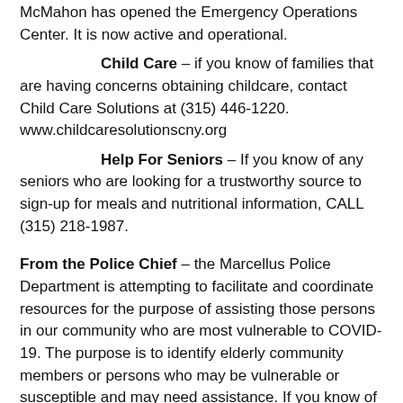McMahon has opened the Emergency Operations Center. It is now active and operational.
Child Care – if you know of families that are having concerns obtaining childcare, contact Child Care Solutions at (315) 446-1220.  www.childcaresolutionscny.org
Help For Seniors – If you know of any seniors who are looking for a trustworthy source to sign-up for meals and nutritional information, CALL (315) 218-1987.
From the Police Chief – the Marcellus Police Department is attempting to facilitate and coordinate resources for the purpose of assisting those persons in our community who are most vulnerable to COVID-19. The purpose is to identify elderly community members or persons who may be vulnerable or susceptible and may need assistance. If you know of any such persons, please contact the Marcellus Police Department (315-673-2079) or the Village Clerk (315-673-3112). Please be patient if you reach a recording, since Governor Cuomo's Executive Orders have restricted Village work hours. If you have an emergency, please call 911. The Village of Marcellus is a strong, connected and close community. We need to take care of each other and when we get through this health crisis, we will be only